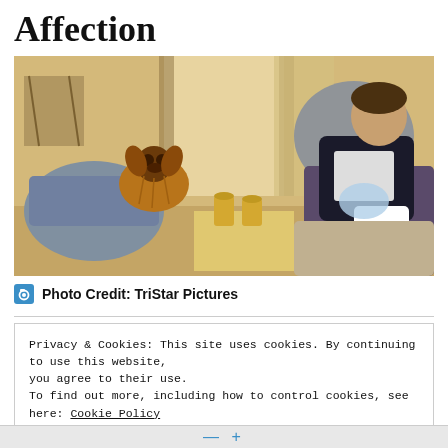Affection
[Figure (photo): A man with a cast on his arm sits on a couch holding a bag of ice, while a fluffy dog sits on another couch in a living room setting. Still from the movie Affection.]
Photo Credit: TriStar Pictures
Privacy & Cookies: This site uses cookies. By continuing to use this website, you agree to their use.
To find out more, including how to control cookies, see here: Cookie Policy
Close and accept